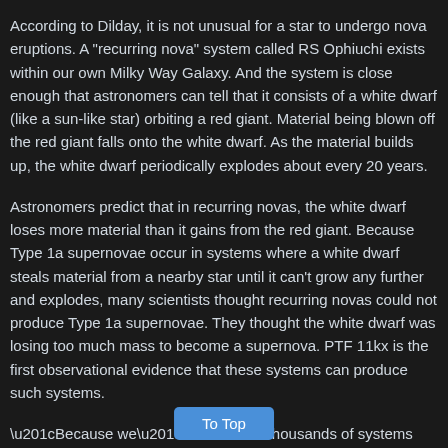According to Dilday, it is not unusual for a star to undergo nova eruptions. A "recurring nova" system called RS Ophiuchi exists within our own Milky Way Galaxy. And the system is close enough that astronomers can tell that it consists of a white dwarf (like a sun-like star) orbiting a red giant. Material being blown off the red giant falls onto the white dwarf. As the material builds up, the white dwarf periodically explodes about every 20 years.
Astronomers predict that in recurring novas, the white dwarf loses more material than it gains from the red giant. Because Type 1a supernovae occur in systems where a white dwarf steals material from a nearby star until it can't grow any further and explodes, many scientists thought recurring novas could not produce Type 1a supernovae. They thought the white dwarf was losing too much mass to ever become a supernova. PTF 11kx is the first observational evidence that these systems can produce such systems.
“Because we’ve looked at thousands of systems and PTF 11kx is the only one we’ve found exactly like this, we think it is probably a rare phenomenon. However, they could be more common, and nature is just hiding their signatures from us,” says Silv
Source: Lawrence Berkeley National Laboratory (Berkeley Lab) and
To Top